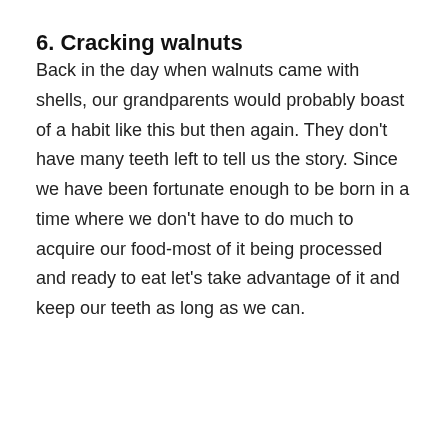6. Cracking walnuts
Back in the day when walnuts came with shells, our grandparents would probably boast of a habit like this but then again. They don't have many teeth left to tell us the story. Since we have been fortunate enough to be born in a time where we don't have to do much to acquire our food -most of it being processed and ready to eat let's take advantage of it and keep our teeth as long as we can.